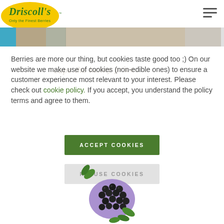[Figure (logo): Driscoll's logo - yellow oval with green Driscoll's text and 'Only the Finest Berries' tagline]
[Figure (photo): Header banner with hero image showing food/berries, teal/blue bar on left]
Berries are more our thing, but cookies taste good too ;) On our website we make use of cookies (non-edible ones) to ensure a customer experience most relevant to your interest. Please check out cookie policy. If you accept, you understand the policy terms and agree to them.
[Figure (other): Green button labeled ACCEPT COOKIES]
[Figure (other): Gray button labeled REFUSE COOKIES]
[Figure (illustration): Blackberry illustration with green leaves on white background]